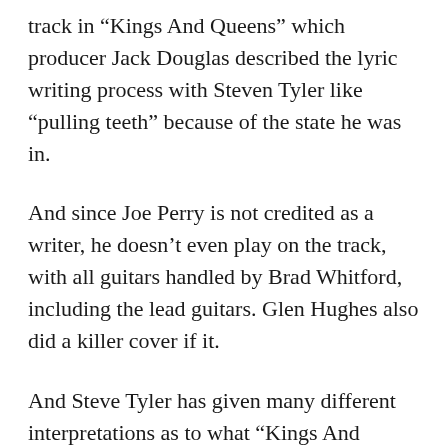track in “Kings And Queens” which producer Jack Douglas described the lyric writing process with Steven Tyler like “pulling teeth” because of the state he was in.
And since Joe Perry is not credited as a writer, he doesn’t even play on the track, with all guitars handled by Brad Whitford, including the lead guitars. Glen Hughes also did a killer cover if it.
And Steve Tyler has given many different interpretations as to what “Kings And Queens” is really about. In the liner notes to “Pandora’s